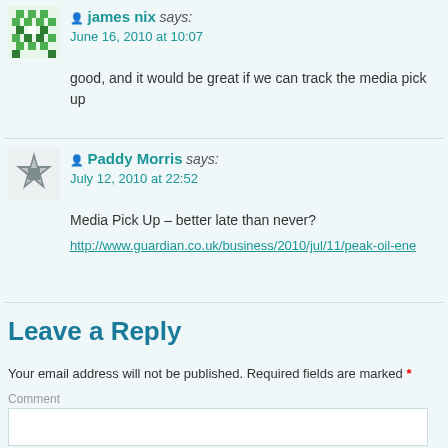james nix says: June 16, 2010 at 10:07
good, and it would be great if we can track the media pick up
Paddy Morris says: July 12, 2010 at 22:52
Media Pick Up – better late than never?
http://www.guardian.co.uk/business/2010/jul/11/peak-oil-ene
Leave a Reply
Your email address will not be published. Required fields are marked *
Comment